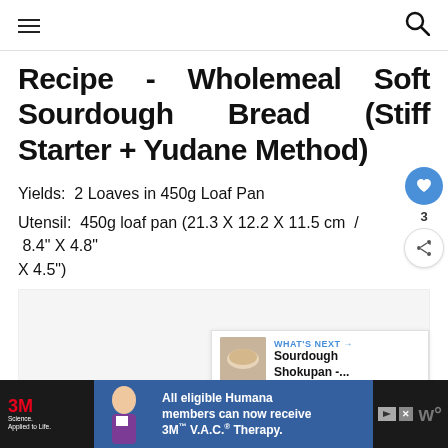navigation header with hamburger menu and search icon
Recipe - Wholemeal Soft Sourdough Bread (Stiff Starter + Yudane Method)
Yields:  2 Loaves in 450g Loaf Pan
Utensil:  450g loaf pan (21.3 X 12.2 X 11.5 cm  /  8.4" X 4.8" X 4.5")
[Figure (screenshot): Floating action buttons: blue heart/like button with count 3, and a share button]
[Figure (screenshot): What's Next panel showing a bread thumbnail and text 'Sourdough Shokupan -...']
3M Science. Applied to Life. | All eligible Humana members can now receive 3M V.A.C. Therapy. [Advertisement]